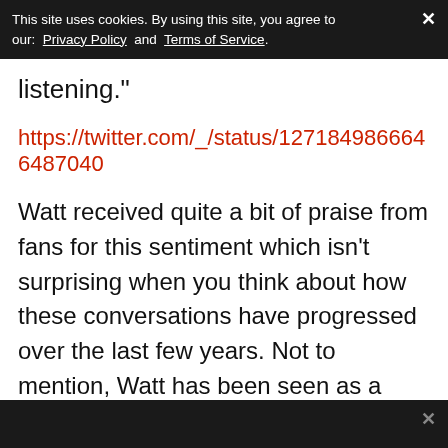This site uses cookies. By using this site, you agree to our: Privacy Policy and Terms of Service.
listening."
https://twitter.com/_/status/1271849866646487040
Watt received quite a bit of praise from fans for this sentiment which isn't surprising when you think about how these conversations have progressed over the last few years. Not to mention, Watt has been seen as a beacon of the Houston community so it only makes sense that he would stand in solidarity with those who are feeling oppressed.